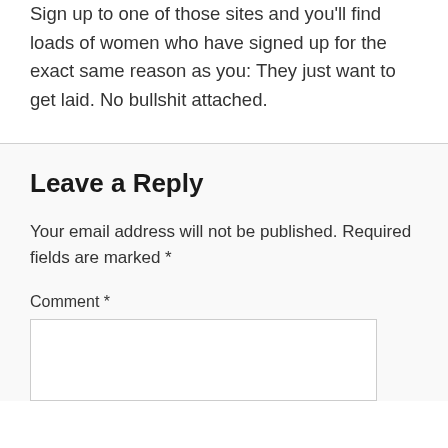Sign up to one of those sites and you'll find loads of women who have signed up for the exact same reason as you: They just want to get laid. No bullshit attached.
Leave a Reply
Your email address will not be published. Required fields are marked *
Comment *